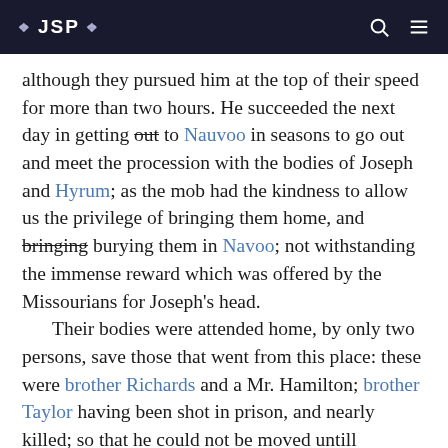❖ JSP ❖
although they pursued him at the top of their speed for more than two hours. He succeeded the next day in getting out to Nauvoo in seasons to go out and meet the procession with the bodies of Joseph and Hyrum; as the mob had the kindness to allow us the privilege of bringing them home, and bringing burying them in Navoo; not withstanding the immense reward which was offered by the Missourians for Joseph's head.
    Their bodies were attended home, by only two persons, save those that went from this place: these were brother Richards and a Mr. Hamilton; brother Taylor having been shot in prison, and nearly killed; so that he could not be moved untill sometime afterwards.